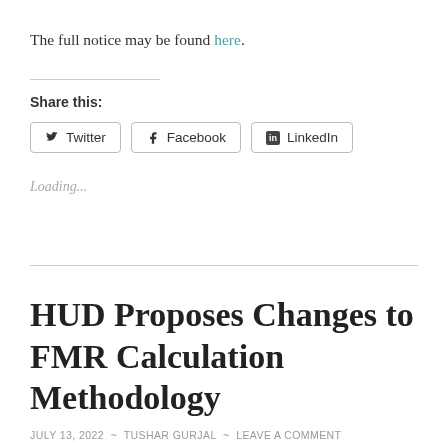The full notice may be found here.
Share this:
Twitter  Facebook  LinkedIn
Loading...
HUD Proposes Changes to FMR Calculation Methodology
JULY 13, 2022 ~ TUSHAR GURJAL ~ LEAVE A COMMENT